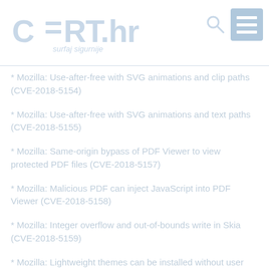CERT.hr surfaj sigurnije
* Mozilla: Use-after-free with SVG animations and clip paths (CVE-2018-5154)
* Mozilla: Use-after-free with SVG animations and text paths (CVE-2018-5155)
* Mozilla: Same-origin bypass of PDF Viewer to view protected PDF files (CVE-2018-5157)
* Mozilla: Malicious PDF can inject JavaScript into PDF Viewer (CVE-2018-5158)
* Mozilla: Integer overflow and out-of-bounds write in Skia (CVE-2018-5159)
* Mozilla: Lightweight themes can be installed without user interaction (CVE-2018-5168)